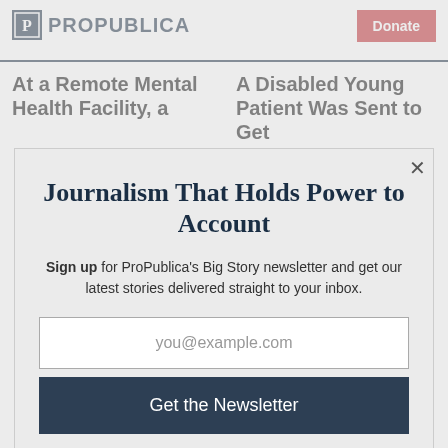ProPublica | Donate
At a Remote Mental Health Facility, a
A Disabled Young Patient Was Sent to Get
Journalism That Holds Power to Account
Sign up for ProPublica's Big Story newsletter and get our latest stories delivered straight to your inbox.
you@example.com
Get the Newsletter
No thanks, I'm all set
This site is protected by reCAPTCHA and the Google Privacy Policy and Terms of Service apply.